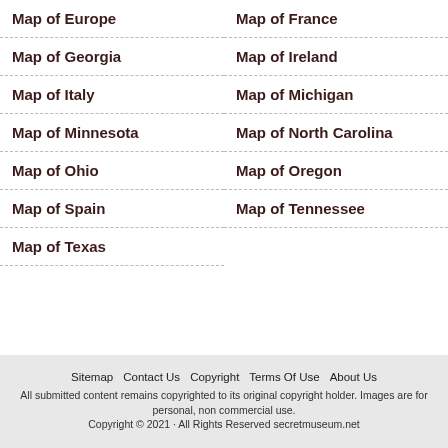Map of Europe
Map of France
Map of Georgia
Map of Ireland
Map of Italy
Map of Michigan
Map of Minnesota
Map of North Carolina
Map of Ohio
Map of Oregon
Map of Spain
Map of Tennessee
Map of Texas
Sitemap | Contact Us | Copyright | Terms Of Use | About Us
All submitted content remains copyrighted to its original copyright holder. Images are for personal, non commercial use.
Copyright © 2021 · All Rights Reserved secretmuseum.net